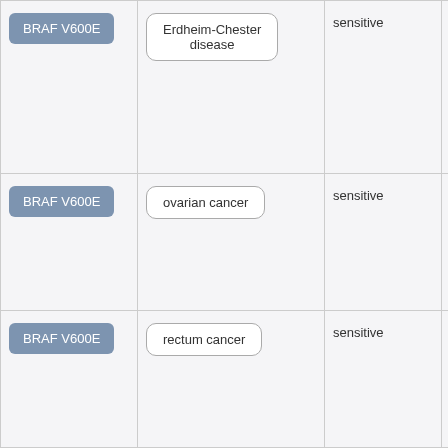| BRAF V600E | Erdheim-Chester disease | sensitive |  |
| BRAF V600E | ovarian cancer | sensitive |  |
| BRAF V600E | rectum cancer | sensitive |  |